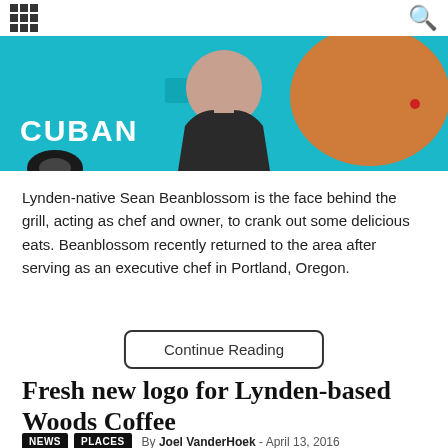Navigation menu icon and search icon
[Figure (photo): Person in dark v-neck shirt standing in front of a bright teal/turquoise food truck with CUBAN text and orange logo visible]
Lynden-native Sean Beanblossom is the face behind the grill, acting as chef and owner, to crank out some delicious eats. Beanblossom recently returned to the area after serving as an executive chef in Portland, Oregon.
Continue Reading
Fresh new logo for Lynden-based Woods Coffee
NEWS   PLACES   By Joel VanderHoek -  April 13, 2016
[Figure (photo): Bottom portion of a warm golden-toned photo, appears to show coffee-related scene with bokeh lights]